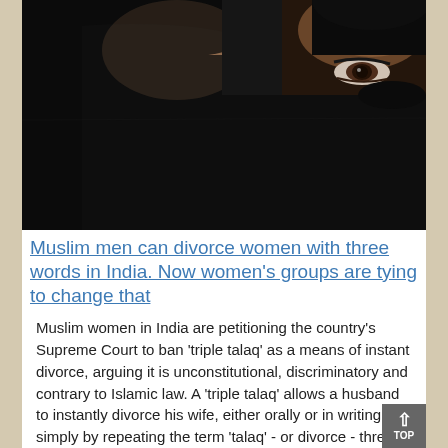[Figure (photo): Two women wearing black niqabs/face veils, only the eyes of one woman are visible. Dark, close-up photograph.]
Muslim men can divorce women with three words in India. Now women's groups are tying to change that
Muslim women in India are petitioning the country's Supreme Court to ban 'triple talaq' as a means of instant divorce, arguing it is unconstitutional, discriminatory and contrary to Islamic law. A 'triple talaq' allows a husband to instantly divorce his wife, either orally or in writing, simply by repeating the term 'talaq' - or divorce - three times.